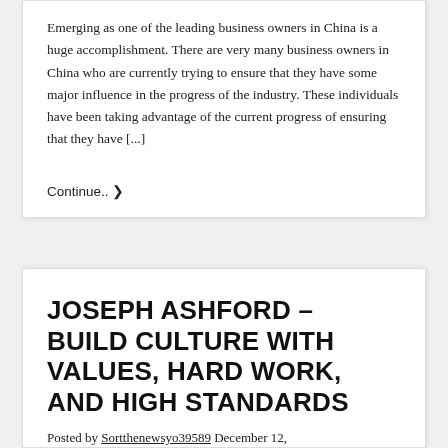Emerging as one of the leading business owners in China is a huge accomplishment. There are very many business owners in China who are currently trying to ensure that they have some major influence in the progress of the industry. These individuals have been taking advantage of the current progress of ensuring that they have [...]
Continue.. ❯
JOSEPH ASHFORD – BUILD CULTURE WITH VALUES, HARD WORK, AND HIGH STANDARDS
Posted by Sortthenewsyo39589 December 12,